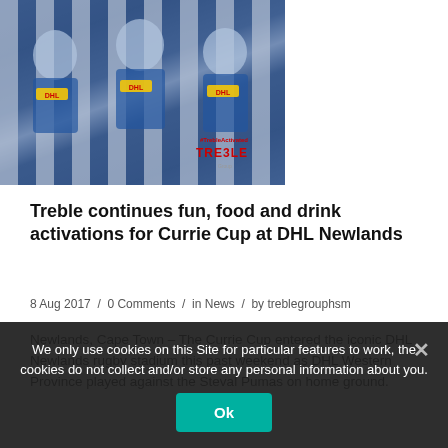[Figure (photo): Group of rugby fans wearing DHL Western Province blue and white striped jerseys with DHL logos, giving thumbs up. A Treble Group branded overlay with '#TrebleActivated' and 'TRE3LE Group' text is visible in the lower right corner.]
Treble continues fun, food and drink activations for Currie Cup at DHL Newlands
8 Aug 2017  /  0 Comments  /  in News  /  by treblegrouphsm
Newlands, Cape Town – The Currie Cup entered the iconic DHL Newlands rugby stadium this past weekend as DHL Western Province played against the Steval Pumas on home ground.
We only use cookies on this Site for particular features to work, the cookies do not collect and/or store any personal information about you.